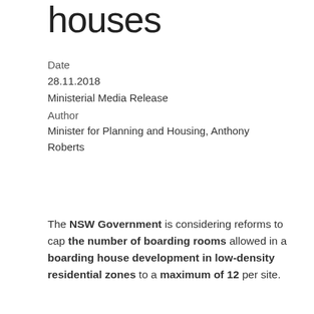houses
Date
28.11.2018
Ministerial Media Release
Author
Minister for Planning and Housing, Anthony Roberts
The NSW Government is considering reforms to cap the number of boarding rooms allowed in a boarding house development in low-density residential zones to a maximum of 12 per site.